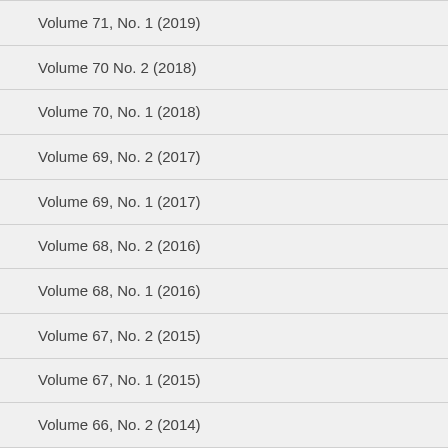Volume 71, No. 1 (2019)
Volume 70 No. 2 (2018)
Volume 70, No. 1 (2018)
Volume 69, No. 2 (2017)
Volume 69, No. 1 (2017)
Volume 68, No. 2 (2016)
Volume 68, No. 1 (2016)
Volume 67, No. 2 (2015)
Volume 67, No. 1 (2015)
Volume 66, No. 2 (2014)